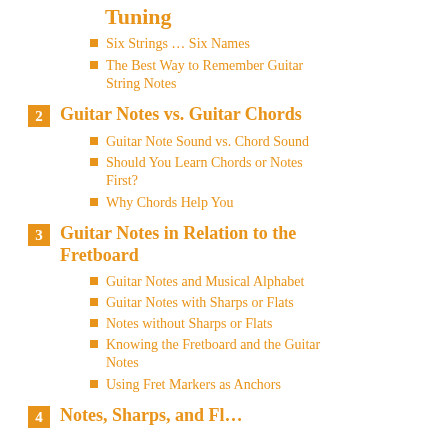Tuning
Six Strings … Six Names
The Best Way to Remember Guitar String Notes
2  Guitar Notes vs. Guitar Chords
Guitar Note Sound vs. Chord Sound
Should You Learn Chords or Notes First?
Why Chords Help You
3  Guitar Notes in Relation to the Fretboard
Guitar Notes and Musical Alphabet
Guitar Notes with Sharps or Flats
Notes without Sharps or Flats
Knowing the Fretboard and the Guitar Notes
Using Fret Markers as Anchors
4  Notes, Sharps, and Fl...